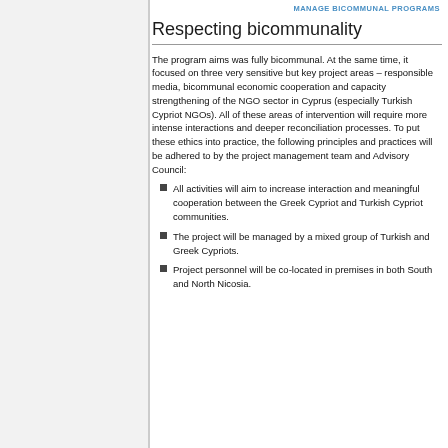MANAGE BICOMMUNAL PROGRAMS
Respecting bicommunality
The program aims was fully bicommunal. At the same time, it focused on three very sensitive but key project areas – responsible media, bicommunal economic cooperation and capacity strengthening of the NGO sector in Cyprus (especially Turkish Cypriot NGOs). All of these areas of intervention will require more intense interactions and deeper reconciliation processes. To put these ethics into practice, the following principles and practices will be adhered to by the project management team and Advisory Council:
All activities will aim to increase interaction and meaningful cooperation between the Greek Cypriot and Turkish Cypriot communities.
The project will be managed by a mixed group of Turkish and Greek Cypriots.
Project personnel will be co-located in premises in both South and North Nicosia.